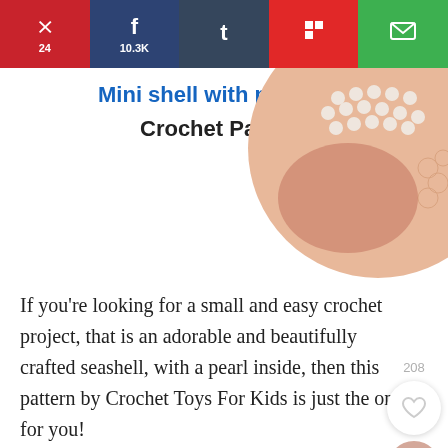[Figure (infographic): Social share bar with Pinterest (24), Facebook (10.3K), Tumblr, Flipboard, and Email buttons]
Mini shell with pearl Crochet Pattern
[Figure (photo): Circular cropped photo showing crochet shell with pearl, hand holding it]
If you're looking for a small and easy crochet project, that is an adorable and beautifully crafted seashell, with a pearl inside, then this pattern by Crochet Toys For Kids is just the one for you!
Ideal as a pocket soft toy, as decoration, or as a gift. The project is small enough that it can be completed pretty fast, allowing you to make multiple of them in no time!